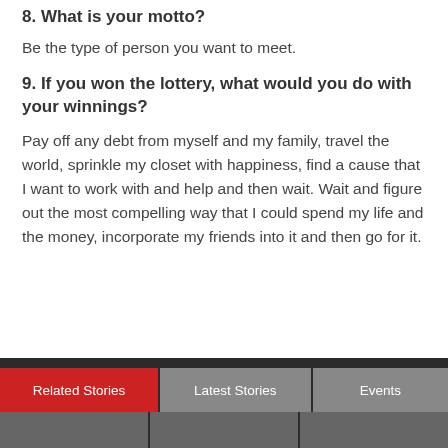8. What is your motto?
Be the type of person you want to meet.
9. If you won the lottery, what would you do with your winnings?
Pay off any debt from myself and my family, travel the world, sprinkle my closet with happiness, find a cause that I want to work with and help and then wait. Wait and figure out the most compelling way that I could spend my life and the money, incorporate my friends into it and then go for it.
Related Stories | Latest Stories | Events